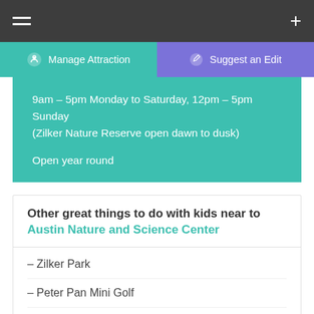☰  +
⚙ Manage Attraction   ✎ Suggest an Edit
9am – 5pm Monday to Saturday, 12pm – 5pm Sunday (Zilker Nature Reserve open dawn to dusk)

Open year round
Other great things to do with kids near to Austin Nature and Science Center
- Zilker Park
- Peter Pan Mini Golf
- Mexic-Arte Museum
- Bullock Texas State History M…